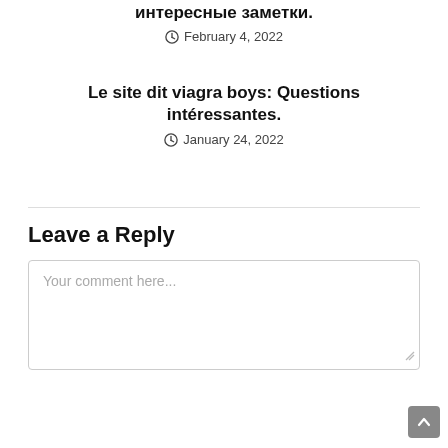интересные заметки.
February 4, 2022
Le site dit viagra boys: Questions intéressantes.
January 24, 2022
Leave a Reply
Your comment here...